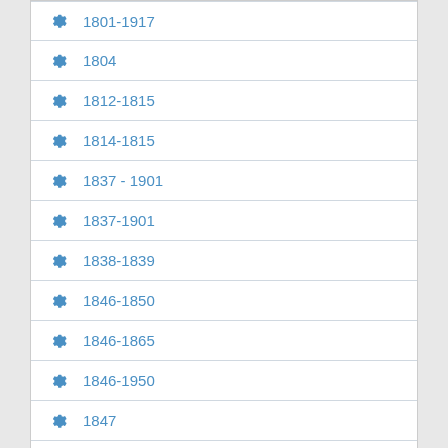1801-1917
1804
1812-1815
1814-1815
1837 - 1901
1837-1901
1838-1839
1846-1850
1846-1865
1846-1950
1847